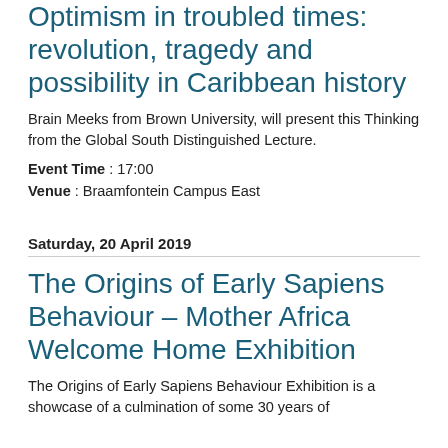Optimism in troubled times: revolution, tragedy and possibility in Caribbean history
Brain Meeks from Brown University, will present this Thinking from the Global South Distinguished Lecture.
Event Time : 17:00
Venue : Braamfontein Campus East
Saturday, 20 April 2019
The Origins of Early Sapiens Behaviour – Mother Africa Welcome Home Exhibition
The Origins of Early Sapiens Behaviour Exhibition is a showcase of a culmination of some 30 years of